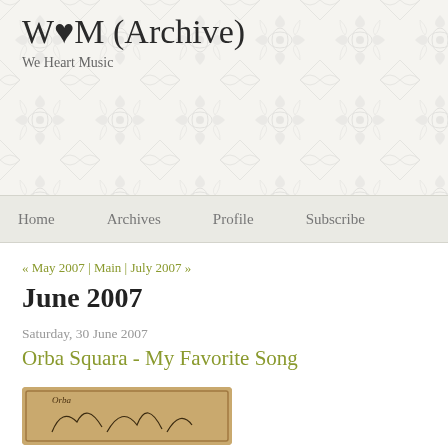W♥M (Archive)
We Heart Music
Home   Archives   Profile   Subscribe
« May 2007 | Main | July 2007 »
June 2007
Saturday, 30 June 2007
Orba Squara - My Favorite Song
[Figure (photo): Album art for Orba Squara - My Favorite Song, a tan/brown colored illustration with sketched figures on a light background]